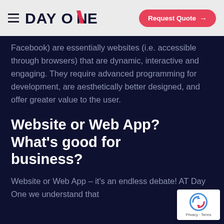DAY ONE — Request Quote →
Facebook) are essentially websites (i.e. accessible through browsers) that are dynamic, interactive and engaging. They require advanced programming for development, are aesthetically better designed, and offer greater value to the user.
Website or Web App? What's good for business?
Website or Web App – it's an endless debate! AT Day One we understand that